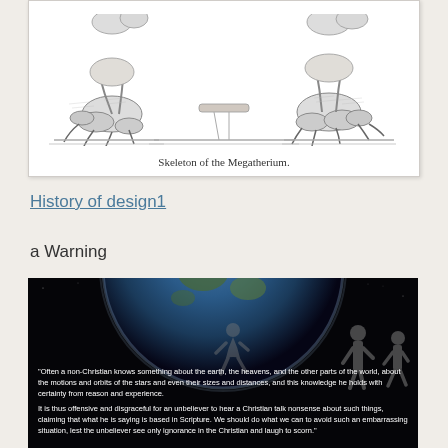[Figure (illustration): Black and white engraving of the skeleton feet/lower limbs of a Megatherium (giant ground sloth), shown from below against a light background.]
Skeleton of the Megatherium.
History of design1
a Warning
[Figure (photo): Dark image showing the Earth from space with human silhouette figures overlaid, containing a quote from Augustine about non-Christians' knowledge of the earth and heavens, and a warning about Christians speaking ignorantly.]
"Often a non-Christian knows something about the earth, the heavens, and the other parts of the world, about the motions and orbits of the stars and even their sizes and distances, and this knowledge he holds with certainty from reason and experience.

It is thus offensive and disgraceful for an unbeliever to hear a Christian talk nonsense about such things, claiming that what he is saying is based in Scripture. We should do what we can to avoid such an embarrassing situation, lest the unbeliever see only ignorance in the Christian and laugh to scorn."